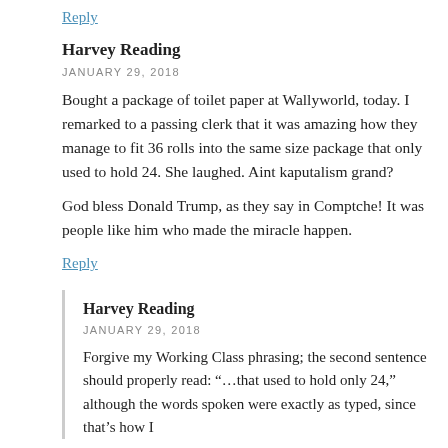Reply
Harvey Reading
JANUARY 29, 2018
Bought a package of toilet paper at Wallyworld, today. I remarked to a passing clerk that it was amazing how they manage to fit 36 rolls into the same size package that only used to hold 24. She laughed. Aint kaputalism grand?
God bless Donald Trump, as they say in Comptche! It was people like him who made the miracle happen.
Reply
Harvey Reading
JANUARY 29, 2018
Forgive my Working Class phrasing; the second sentence should properly read: “…that used to hold only 24,” although the words spoken were exactly as typed, since that’s how I